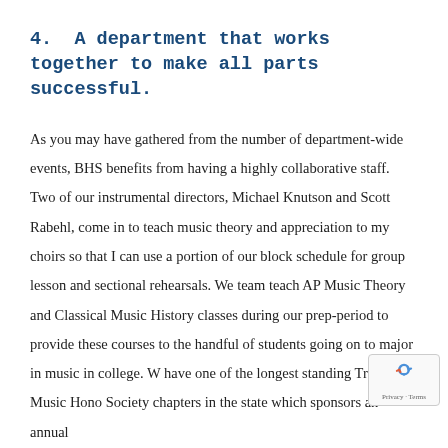4. A department that works together to make all parts successful.
As you may have gathered from the number of department-wide events, BHS benefits from having a highly collaborative staff. Two of our instrumental directors, Michael Knutson and Scott Rabehl, come in to teach music theory and appreciation to my choirs so that I can use a portion of our block schedule for group lesson and sectional rehearsals. We team teach AP Music Theory and Classical Music History classes during our prep-period to provide these courses to the handful of students going on to major in music in college. We have one of the longest standing Tri-M Music Honor Society chapters in the state which sponsors an annual